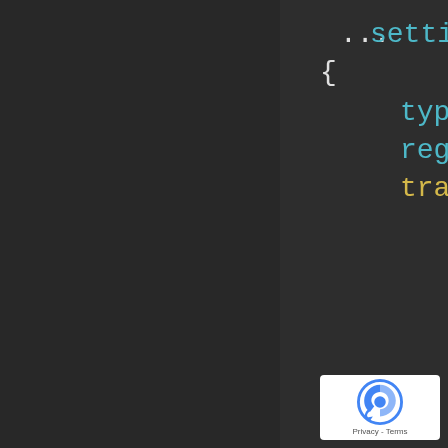[Figure (screenshot): Code editor screenshot showing JavaScript/JSON code with syntax highlighting on a dark background. Visible code includes: ...settings., {, type: "e, regExp:, transfor, // c, cons, );, // u, cons. Colors: cyan for property names, orange for keywords, yellow for transform, green for string values, gray for comments.]
[Figure (logo): Google reCAPTCHA badge in bottom-right corner with Privacy - Terms text]